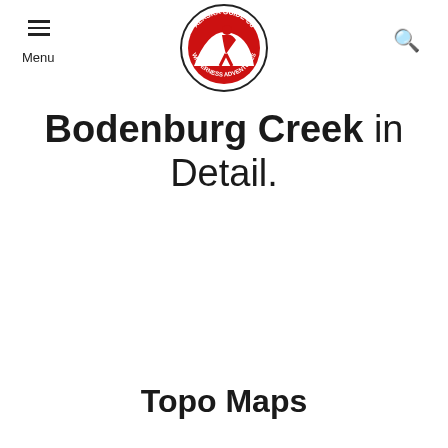Menu | Alaska Guide Co. Wilderness Adventures logo | Search
Bodenburg Creek in Detail.
About
Flows S to knik River 11.3 km (7 mi) SSE of Palmer.
Topo Maps